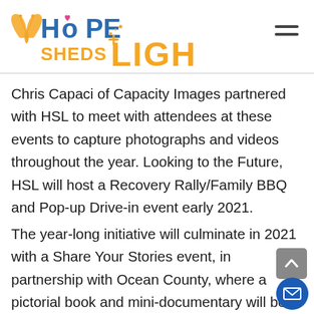[Figure (logo): Hope Sheds Light organization logo with butterfly and colorful text]
Chris Capaci of Capacity Images partnered with HSL to meet with attendees at these events to capture photographs and videos throughout the year. Looking to the Future, HSL will host a Recovery Rally/Family BBQ and Pop-up Drive-in event early 2021.
The year-long initiative will culminate in 2021 with a Share Your Stories event, in partnership with Ocean County, where a pictorial book and mini-documentary will be formally unveiled. “We hope